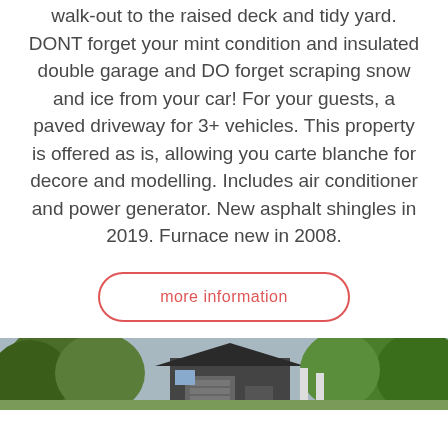walk-out to the raised deck and tidy yard. DONT forget your mint condition and insulated double garage and DO forget scraping snow and ice from your car! For your guests, a paved driveway for 3+ vehicles. This property is offered as is, allowing you carte blanche for decore and modelling. Includes air conditioner and power generator. New asphalt shingles in 2019. Furnace new in 2008.
more information
[Figure (photo): Exterior photo of a house with dark asphalt shingles and trees in the background]